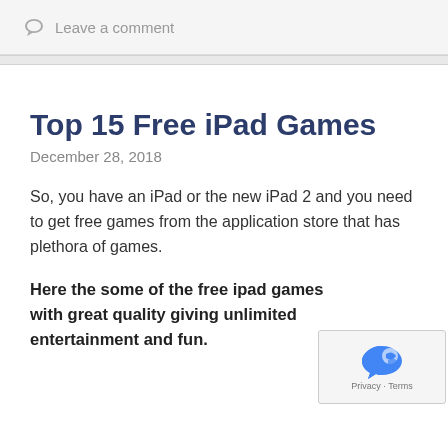Leave a comment
Top 15 Free iPad Games
December 28, 2018
So, you have an iPad or the new iPad 2 and you need to get free games from the application store that has plethora of games.
Here the some of the free ipad games with great quality giving unlimited entertainment and fun.
1. Metal Storm (Online)...